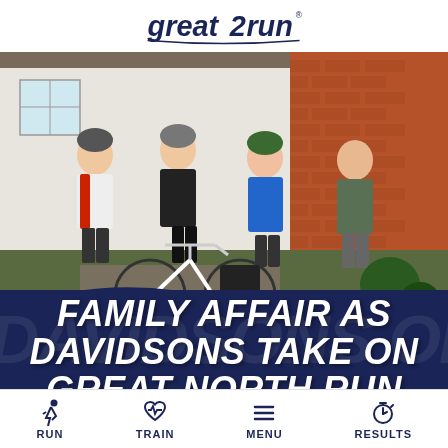[Figure (logo): Great Run logo in navy blue, stylized text with a swoosh]
[Figure (photo): Four men posing with bicycles in front of a brick house. Three are wearing cycling gear and helmets, one is wearing casual clothes. They appear to be preparing for or returning from a cycling event.]
FAMILY AFFAIR AS DAVIDSONS TAKE ON GREAT NORTH RUN
RUN   TRAIN   MENU   RESULTS